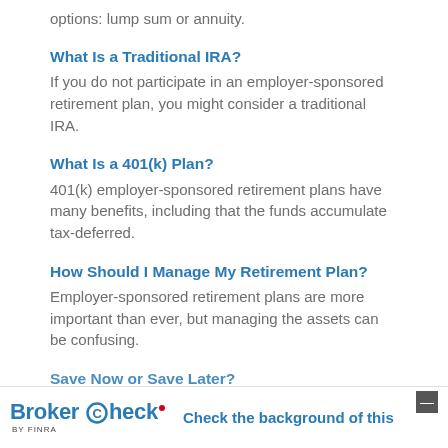options: lump sum or annuity.
What Is a Traditional IRA?
If you do not participate in an employer-sponsored retirement plan, you might consider a traditional IRA.
What Is a 401(k) Plan?
401(k) employer-sponsored retirement plans have many benefits, including that the funds accumulate tax-deferred.
How Should I Manage My Retirement Plan?
Employer-sponsored retirement plans are more important than ever, but managing the assets can be confusing.
Save Now or Save Later?
BrokerCheck by FINRA — Check the background of this